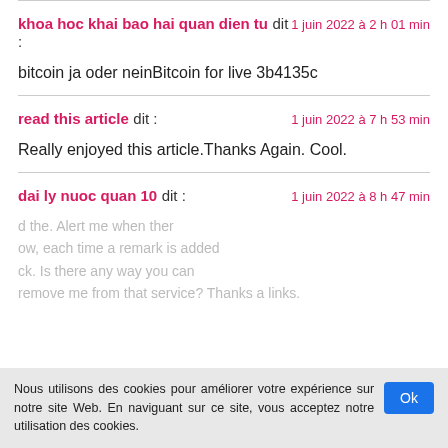khoa hoc khai bao hai quan dien tu dit : 1 juin 2022 à 2 h 01 min
bitcoin ja oder neinBitcoin for live 3b4135c
read this article dit : 1 juin 2022 à 7 h 53 min
Really enjoyed this article.Thanks Again. Cool.
dai ly nuoc quan 10 dit : 1 juin 2022 à 8 h 47 min
Nous utilisons des cookies pour améliorer votre expérience sur notre site Web. En naviguant sur ce site, vous acceptez notre utilisation des cookies.